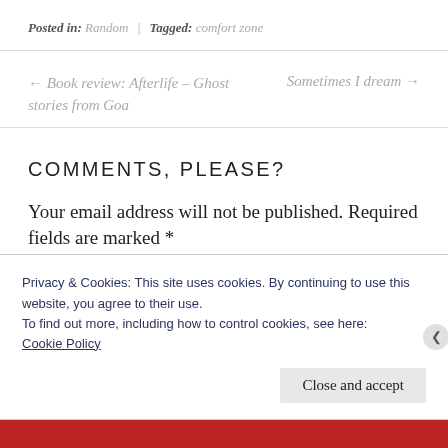Posted in: Random | Tagged: comfort zone
← Book review: Afterlife – Ghost stories from Goa
Sometimes I dream →
COMMENTS, PLEASE?
Your email address will not be published. Required fields are marked *
Privacy & Cookies: This site uses cookies. By continuing to use this website, you agree to their use.
To find out more, including how to control cookies, see here: Cookie Policy